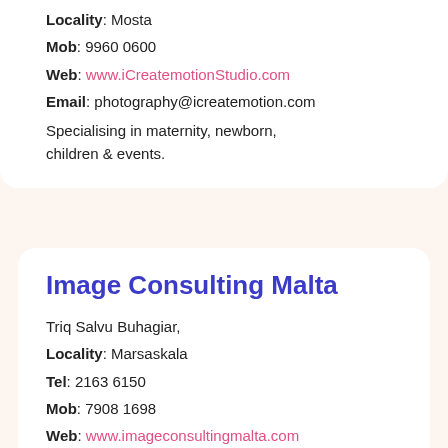Locality: Mosta
Mob: 9960 0600
Web: www.iCreatemotionStudio.com
Email: photography@icreatemotion.com
Specialising in maternity, newborn, children & events.
Image Consulting Malta
Triq Salvu Buhagiar,
Locality: Marsaskala
Tel: 2163 6150
Mob: 7908 1698
Web: www.imageconsultingmalta.com
Email: info@imageconsultingmalta.com